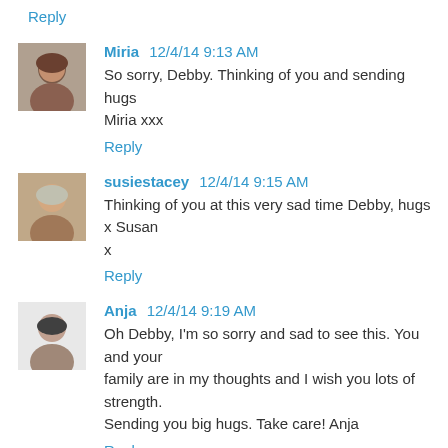Reply
[Figure (photo): Avatar photo of Miria, a woman with dark hair]
Miria 12/4/14 9:13 AM
So sorry, Debby. Thinking of you and sending hugs Miria xxx
Reply
[Figure (photo): Avatar photo of susiestacey, an older woman smiling]
susiestacey 12/4/14 9:15 AM
Thinking of you at this very sad time Debby, hugs x Susan x
Reply
[Figure (photo): Avatar photo of Anja, a woman with dark hair]
Anja 12/4/14 9:19 AM
Oh Debby, I'm so sorry and sad to see this. You and your family are in my thoughts and I wish you lots of strength. Sending you big hugs. Take care! Anja
Reply